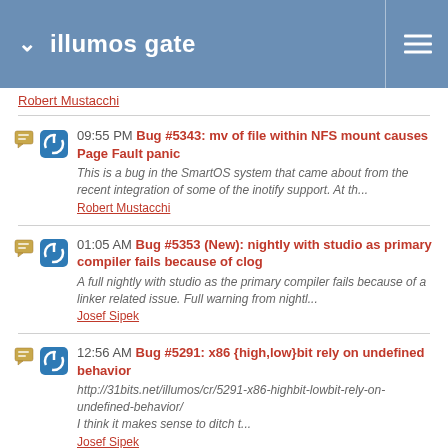illumos gate
Robert Mustacchi (truncated/partial)
09:55 PM Bug #5343: mv of file within NFS mount causes Page Fault panic
This is a bug in the SmartOS system that came about from the recent integration of some of the inotify support. At th...
Robert Mustacchi
01:05 AM Bug #5353 (New): nightly with studio as primary compiler fails because of clog
A full nightly with studio as the primary compiler fails because of a linker related issue. Full warning from nightl...
Josef Sipek
12:56 AM Bug #5291: x86 {high,low}bit rely on undefined behavior
http://31bits.net/illumos/cr/5291-x86-highbit-lowbit-rely-on-undefined-behavior/
I think it makes sense to ditch t...
Josef Sipek